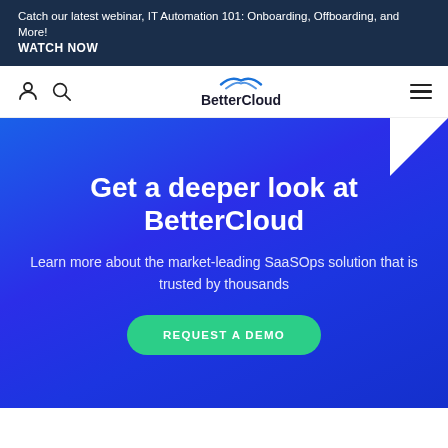Catch our latest webinar, IT Automation 101: Onboarding, Offboarding, and More! WATCH NOW
[Figure (logo): BetterCloud logo with swoosh icon above the text]
Get a deeper look at BetterCloud
Learn more about the market-leading SaaSOps solution that is trusted by thousands
REQUEST A DEMO